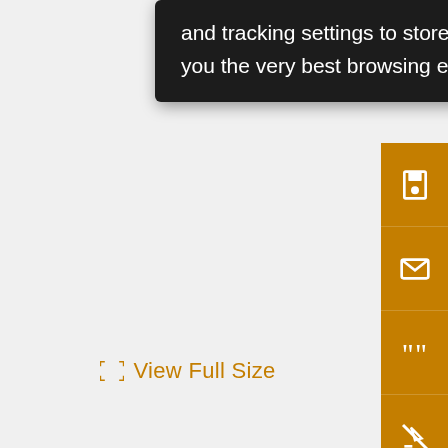and tracking settings to store information that help give you the very best browsing experience.
View Full Size
[Figure (screenshot): Orange sidebar with save, email, cite, annotate, and share icon buttons]
Res den (blu Cita Bull Am Mo